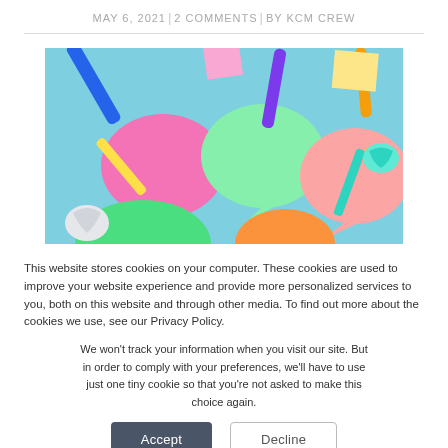MAY 6, 2021 | 2 COMMENTS | BY KCM CREW
[Figure (photo): Colorful speech bubble sticky notes and markers on a light blue background]
This website stores cookies on your computer. These cookies are used to improve your website experience and provide more personalized services to you, both on this website and through other media. To find out more about the cookies we use, see our Privacy Policy.
We won't track your information when you visit our site. But in order to comply with your preferences, we'll have to use just one tiny cookie so that you're not asked to make this choice again.
Accept | Decline